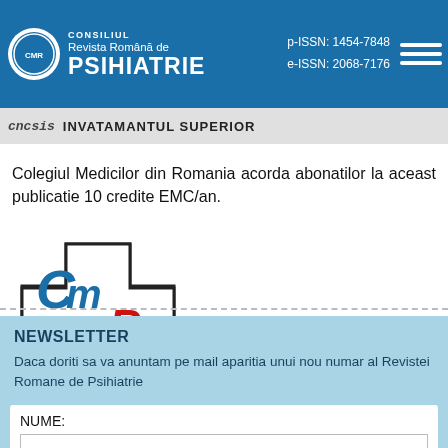Consiliul Revista Română de PSIHIATRIE | p-ISSN: 1454-7848 | e-ISSN: 2068-7176
CNCSIS SUPERIOR
Colegiul Medicilor din Romania acorda abonatilor la aceasta publicatie 10 credite EMC/an.
[Figure (logo): CMR logo - Colegiul Medicilor din Romania, blue stylized C and M letters with red R on white cross background]
NEWSLETTER
Daca doriti sa va anuntam pe mail aparitia unui nou numar al Revistei Romane de Psihiatrie
NUME: